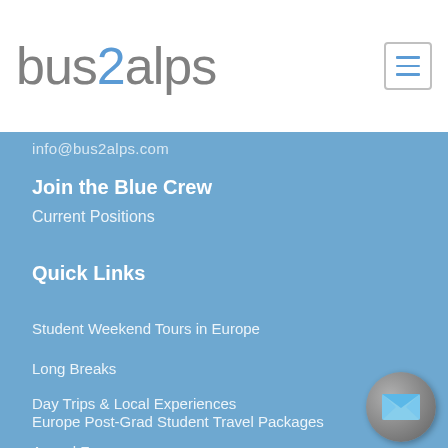[Figure (logo): bus2alps logo with '2' in blue and rest in gray]
[Figure (other): Hamburger menu button (three horizontal lines) in a square border]
info@bus2alps.com
Join the Blue Crew
Current Positions
Quick Links
Student Weekend Tours in Europe
Long Breaks
Day Trips & Local Experiences
Europe Post-Grad Student Travel Packages
Armed Forces
[Figure (other): Gray circular mail/envelope button in the bottom right corner]